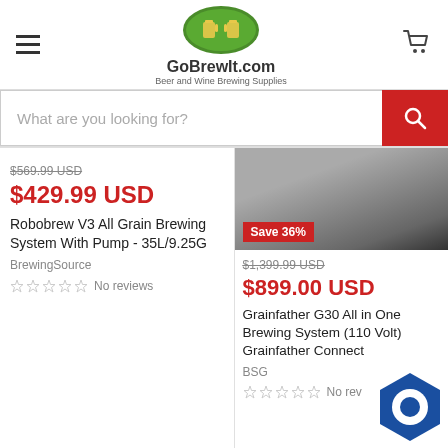GoBrewIt.com — Beer and Wine Brewing Supplies
What are you looking for?
$569.99 USD (strikethrough), $429.99 USD, Robobrew V3 All Grain Brewing System With Pump - 35L/9.25G, BrewingSource, No reviews
[Figure (screenshot): Product image area for Robobrew V3]
Save 36%, $1,399.99 USD (strikethrough), $899.00 USD, Grainfather G30 All in One Brewing System (110 Volt) Grainfather Connect, BSG, No reviews
[Figure (photo): Product image of Grainfather G30 brewing system, dark metallic equipment]